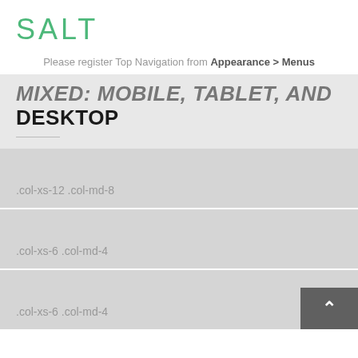SALT
Please register Top Navigation from Appearance > Menus
MIXED: MOBILE, TABLET, AND DESKTOP
.col-xs-12 .col-md-8
.col-xs-6 .col-md-4
.col-xs-6 .col-md-4